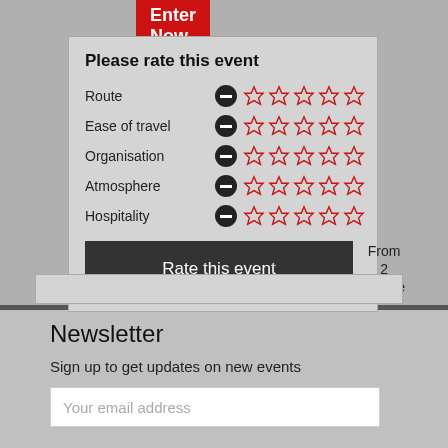[Figure (other): Enter Now red button]
Please rate this event
Route — minus icon — 5 empty stars
Ease of travel — minus icon — 5 empty stars
Organisation — minus icon — 5 empty stars
Atmosphere — minus icon — 5 empty stars
Hospitality — minus icon — 5 empty stars
Rate this event
From 2 people
Newsletter
Sign up to get updates on new events
Your email address